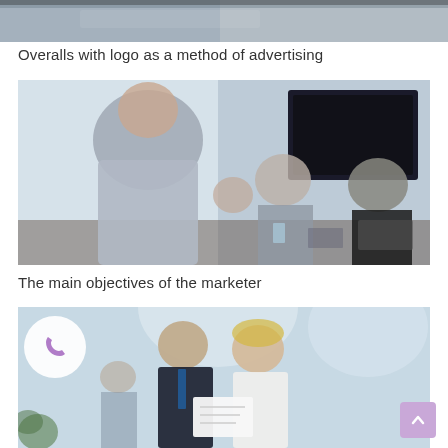[Figure (photo): Top cropped photo showing partial view of people or objects, dark tones at top]
Overalls with logo as a method of advertising
[Figure (photo): Business meeting scene: a man standing presenting to seated colleagues in a modern office with large windows and a TV screen]
The main objectives of the marketer
[Figure (photo): Two business professionals (man and woman) looking at a document together in a bright modern office; overlaid with a purple phone icon in a white circle and a purple scroll-to-top button in the bottom right]